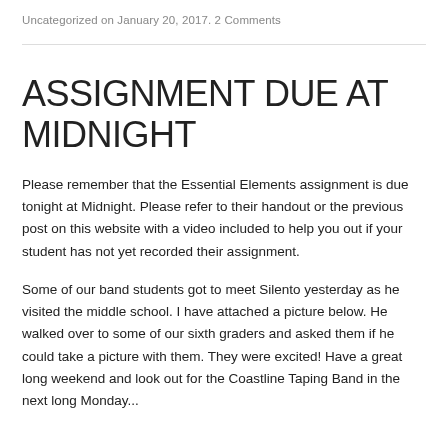Uncategorized on January 20, 2017. 2 Comments
ASSIGNMENT DUE AT MIDNIGHT
Please remember that the Essential Elements assignment is due tonight at Midnight. Please refer to their handout or the previous post on this website with a video included to help you out if your student has not yet recorded their assignment.
Some of our band students got to meet Silento yesterday as he visited the middle school. I have attached a picture below. He walked over to some of our sixth graders and asked them if he could take a picture with them. They were excited! Have a great long weekend and look out for the Coastline Taping Band in the next long Monday...